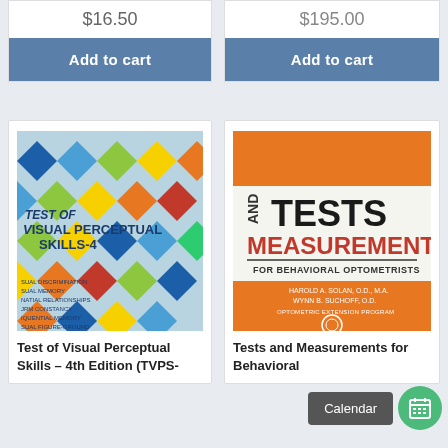$16.50
Add to cart
$195.00
Add to cart
[Figure (photo): Book cover: Test of Visual Perceptual Skills – 4th Edition (TVPS-4) with colorful geometric diamond shapes on a blue background]
Test of Visual Perceptual Skills – 4th Edition (TVPS-
[Figure (photo): Book cover: Tests and Measurements for Behavioral Optometrists by Harold A. Solan, O.D., M.A. and Wynn B. Suchoff, O.D., orange and white cover]
Tests and Measurements for Behavioral